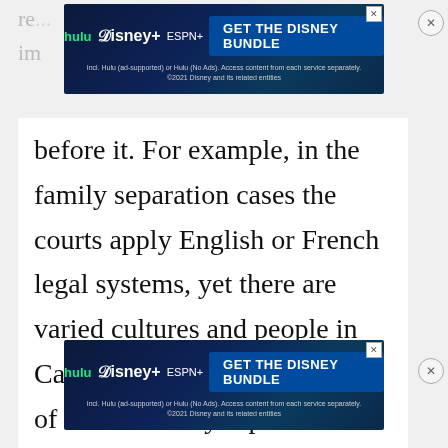[Figure (screenshot): Hulu Disney+ ESPN+ GET THE DISNEY BUNDLE advertisement banner at top of page]
before it. For example, in the family separation cases the courts apply English or French legal systems, yet there are varied cultures and people in Canada with different notions of what a family separation should mean or entail and that is not always reflected in court decisions. The courts are not
always obliged to take cultural values in
[Figure (screenshot): Hulu Disney+ ESPN+ GET THE DISNEY BUNDLE advertisement banner in middle of page]
The question about whether the